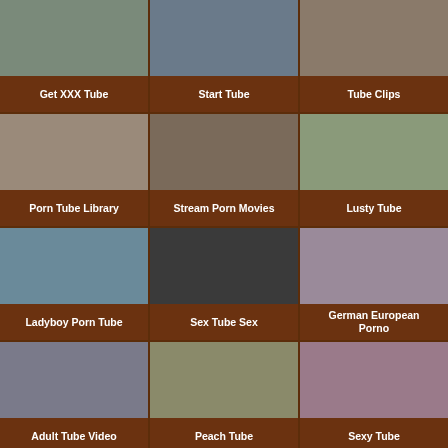[Figure (photo): Adult content thumbnail]
Get XXX Tube
[Figure (photo): Adult content thumbnail]
Start Tube
[Figure (photo): Adult content thumbnail]
Tube Clips
[Figure (photo): Adult content thumbnail]
Porn Tube Library
[Figure (photo): Adult content thumbnail]
Stream Porn Movies
[Figure (photo): Adult content thumbnail]
Lusty Tube
[Figure (photo): Adult content thumbnail]
Ladyboy Porn Tube
[Figure (photo): Adult content thumbnail]
Sex Tube Sex
[Figure (photo): Adult content thumbnail]
German European Porno
[Figure (photo): Adult content thumbnail]
Adult Tube Video
[Figure (photo): Adult content thumbnail]
Peach Tube
[Figure (photo): Adult content thumbnail]
Sexy Tube